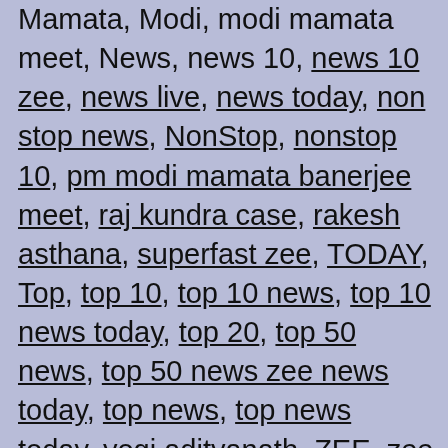Mamata, Modi, modi mamata meet, News, news 10, news 10 zee, news live, news today, non stop news, NonStop, nonstop 10, pm modi mamata banerjee meet, raj kundra case, rakesh asthana, superfast zee, TODAY, Top, top 10, top 10 news, top 10 news today, top 20, top 50 news, top 50 news zee news today, top news, top news today, yogi adityanath, ZEE, zee fast news, zee news, zee top 10, zee top 10 news, zee top 10 news today, zee top 10 today, zee top 50 today, झ, झझझझ